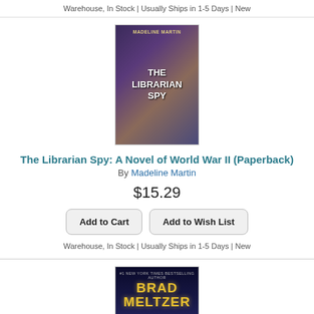Warehouse, In Stock | Usually Ships in 1-5 Days | New
[Figure (illustration): Book cover of 'The Librarian Spy' by Madeline Martin, showing two women and bookshelves]
The Librarian Spy: A Novel of World War II (Paperback)
By Madeline Martin
$15.29
Add to Cart
Add to Wish List
Warehouse, In Stock | Usually Ships in 1-5 Days | New
[Figure (illustration): Book cover of 'The Lightning Rod' by Brad Meltzer, dark cover with lightning and silhouette]